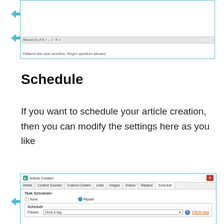[Figure (screenshot): Screenshot of an Article Creator dialog box showing a record bar reading 'Record 0 of 0 + - / x <' and a note: 'Patterns are case sensitive. Regex operators allowed.']
Schedule
If you want to schedule your article creation, then you can modify the settings here as you like
[Figure (screenshot): Screenshot of Article Creator dialog with tabs: Article, Content Sources, Custom Content, Links, Images, Videos, Replace, Schedule (active). Shows Task Scheduler section with None and Repeat radio buttons, Schedule sub-section with Presets dropdown showing 'Once a day' and a CRON Help link.]